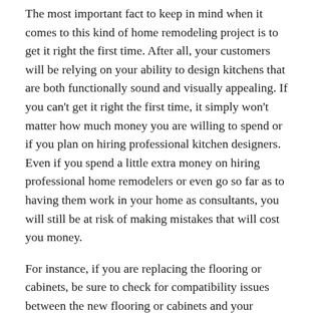The most important fact to keep in mind when it comes to this kind of home remodeling project is to get it right the first time. After all, your customers will be relying on your ability to design kitchens that are both functionally sound and visually appealing. If you can't get it right the first time, it simply won't matter how much money you are willing to spend or if you plan on hiring professional kitchen designers. Even if you spend a little extra money on hiring professional home remodelers or even go so far as to having them work in your home as consultants, you will still be at risk of making mistakes that will cost you money.
For instance, if you are replacing the flooring or cabinets, be sure to check for compatibility issues between the new flooring or cabinets and your current flooring. You also have to make sure the flooring will work with your countertops.